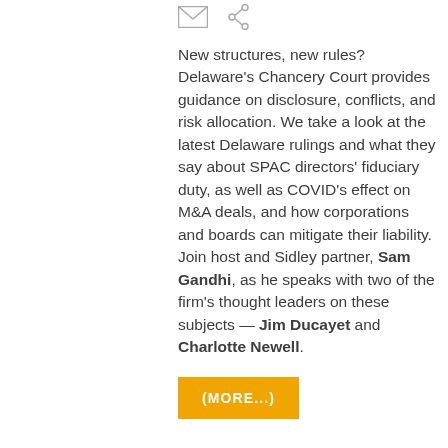[Figure (other): Two icons: envelope/mail icon and share icon]
New structures, new rules? Delaware's Chancery Court provides guidance on disclosure, conflicts, and risk allocation. We take a look at the latest Delaware rulings and what they say about SPAC directors' fiduciary duty, as well as COVID's effect on M&A deals, and how corporations and boards can mitigate their liability. Join host and Sidley partner, Sam Gandhi, as he speaks with two of the firm's thought leaders on these subjects — Jim Ducayet and Charlotte Newell.
(MORE...)